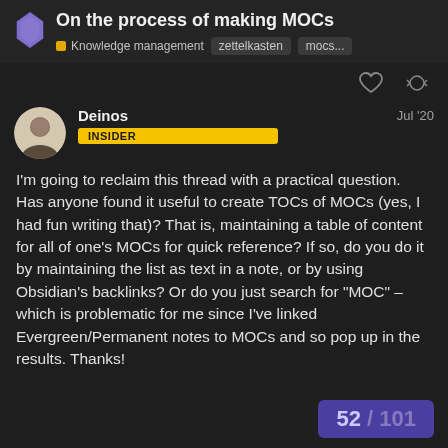On the process of making MOCs | Knowledge management | zettelkasten | mocs...
Deinos — Jul '20 — INSIDER
I'm going to reclaim this thread with a practical question. Has anyone found it useful to create TOCs of MOCs (yes, I had fun writing that)? That is, maintaining a table of content for all of one's MOCs for quick reference? If so, do you do it by maintaining the list as text in a note, or by using Obsidian's backlinks? Or do you just search for "MOC" – which is problematic for me since I've linked Evergreen/Permanent notes to MOCs and so pop up in the results. Thanks!
52 / 101